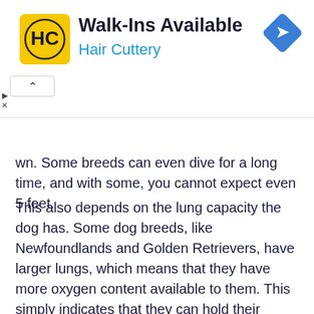[Figure (other): Hair Cuttery advertisement banner with yellow HC logo, headline 'Walk-Ins Available', subline 'Hair Cuttery', and a blue diamond navigation icon]
wn. Some breeds can even dive for a long time, and with some, you cannot expect even 5 feet.
This also depends on the lung capacity the dog has. Some dog breeds, like Newfoundlands and Golden Retrievers, have larger lungs, which means that they have more oxygen content available to them. This simply indicates that they can hold their breath for long durations underwater and can dive deep too.
Can I train my dog to hold his breathe underwater?
Well, training a dog to hold its breath underwater is not